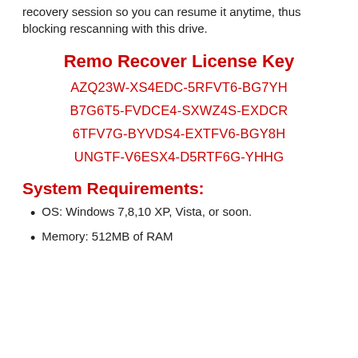recovery session so you can resume it anytime, thus blocking rescanning with this drive.
Remo Recover License Key
AZQ23W-XS4EDC-5RFVT6-BG7YH
B7G6T5-FVDCE4-SXWZ4S-EXDCR
6TFV7G-BYVDS4-EXTFV6-BGY8H
UNGTF-V6ESX4-D5RTF6G-YHHG
System Requirements:
OS: Windows 7,8,10 XP, Vista, or soon.
Memory: 512MB of RAM